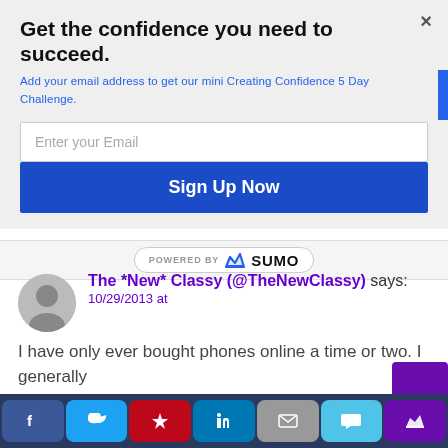Get the confidence you need to succeed.
Add your email address to get our mini Creating Confidence 5 Day Challenge.
[Figure (screenshot): Email subscription modal with input field and Sign Up Now button]
[Figure (logo): Powered by SUMO logo badge]
The *New* Classy (@TheNewClassy) says: 10/29/2013 at
I have only ever bought phones online a time or two. I generally
[Figure (other): Social share bar with Facebook, Twitter, Pinterest, LinkedIn, Email, Message, and Crown buttons]